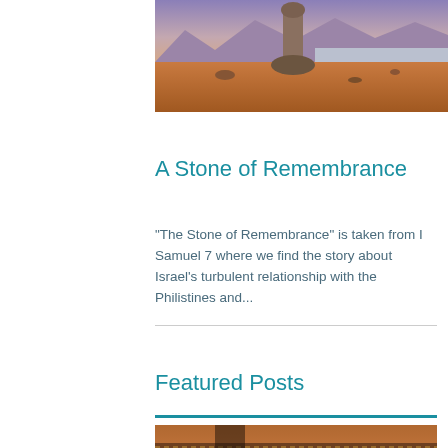[Figure (photo): Desert landscape with a tall rock formation/pillar under a blue-purple mountain sky]
A Stone of Remembrance
"The Stone of Remembrance" is taken from I Samuel 7 where we find the story about Israel's turbulent relationship with the Philistines and...
Featured Posts
[Figure (photo): Close-up of a brown leather bag or wallet]